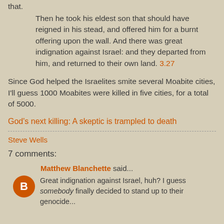that.
Then he took his eldest son that should have reigned in his stead, and offered him for a burnt offering upon the wall. And there was great indignation against Israel: and they departed from him, and returned to their own land. 3.27
Since God helped the Israelites smite several Moabite cities, I'll guess 1000 Moabites were killed in five cities, for a total of 5000.
God's next killing: A skeptic is trampled to death
Steve Wells
7 comments:
Matthew Blanchette said...
Great indignation against Israel, huh? I guess somebody finally decided to stand up to their genocide...